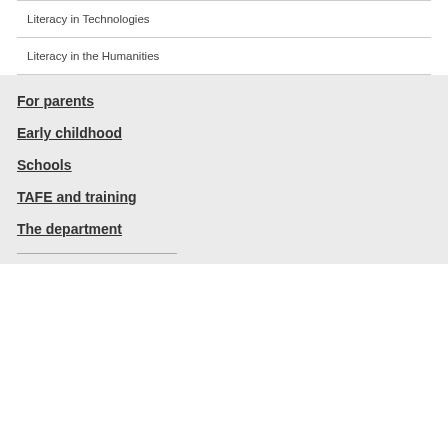Literacy in Technologies
Literacy in the Humanities
For parents
Early childhood
Schools
TAFE and training
The department